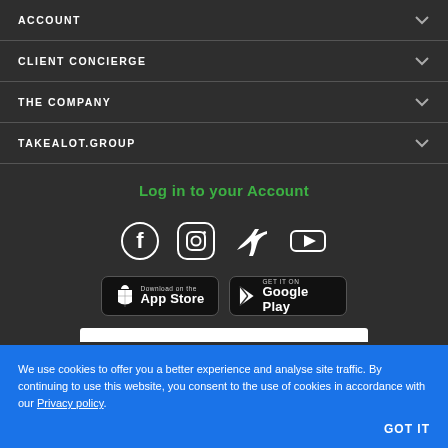ACCOUNT
CLIENT CONCIERGE
THE COMPANY
TAKEALOT.GROUP
Log in to your Account
[Figure (infographic): Social media icons: Facebook, Instagram, Twitter, YouTube]
[Figure (infographic): Download on the App Store and GET IT ON Google Play buttons]
We use cookies to offer you a better experience and analyse site traffic. By continuing to use this website, you consent to the use of cookies in accordance with our Privacy policy
GOT IT